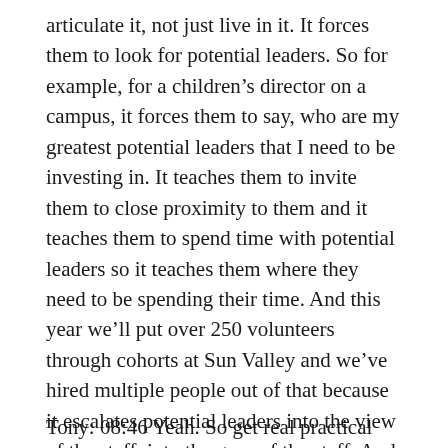articulate it, not just live in it. It forces them to look for potential leaders. So for example, for a children's director on a campus, it forces them to say, who are my greatest potential leaders that I need to be investing in. It teaches them to invite them to close proximity to them and it teaches them to spend time with potential leaders so it teaches them where they need to be spending their time. And this year we'll put over 250 volunteers through cohorts at Sun Valley and we've hired multiple people out of that because it escalates potential leaders into the view of the staff, into the gaze of the staff. And so we found that to be more useful than a magic pipeline that, you know, for happy hops to being a leader.
Tony: 08:46 Yeah. So get real practical here then